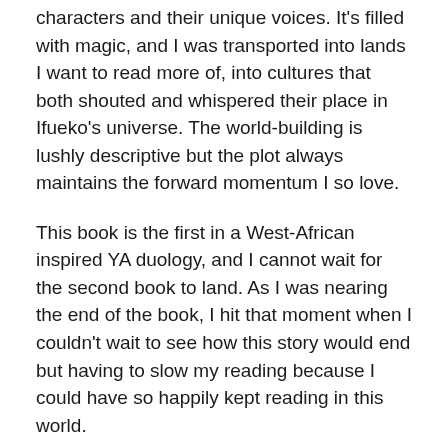characters and their unique voices. It's filled with magic, and I was transported into lands I want to read more of, into cultures that both shouted and whispered their place in Ifueko's universe. The world-building is lushly descriptive but the plot always maintains the forward momentum I so love.
This book is the first in a West-African inspired YA duology, and I cannot wait for the second book to land. As I was nearing the end of the book, I hit that moment when I couldn't wait to see how this story would end but having to slow my reading because I could have so happily kept reading in this world.
If you don't have this on your TBR, you need to go sort that out right now. Go on. <flaps hand> Order it now!